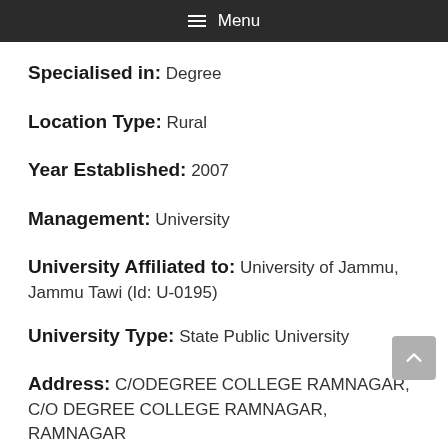Menu
Specialised in: Degree
Location Type: Rural
Year Established: 2007
Management: University
University Affiliated to: University of Jammu, Jammu Tawi (Id: U-0195)
University Type: State Public University
Address: C/ODEGREE COLLEGE RAMNAGAR, C/O DEGREE COLLEGE RAMNAGAR, RAMNAGAR